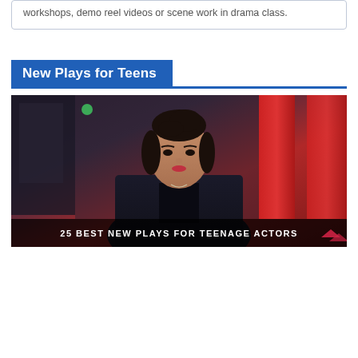workshops, demo reel videos or scene work in drama class.
New Plays for Teens
[Figure (photo): A teenage girl with dark hair pulled up, wearing a dark denim jacket and black top with a small necklace, standing in front of a blurred background with red pillars. Overlay text reads: 25 BEST NEW PLAYS FOR TEENAGE ACTORS]